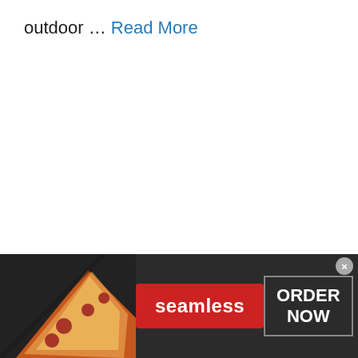outdoor … Read More
Tips
Colorado, Cost of Living, Florida
[Figure (other): Seamless food delivery advertisement banner showing pizza slices on the left, a red 'seamless' button in the center, and an 'ORDER NOW' box on the right with a close (×) button at top right.]